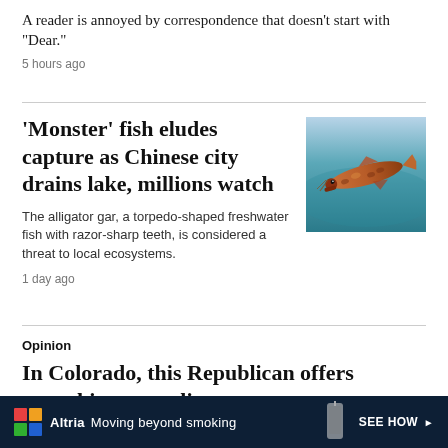A reader is annoyed by correspondence that doesn't start with "Dear."
5 hours ago
'Monster' fish eludes capture as Chinese city drains lake, millions watch
The alligator gar, a torpedo-shaped freshwater fish with razor-sharp teeth, is considered a threat to local ecosystems.
1 day ago
[Figure (photo): Photo of an alligator gar fish — a long, torpedo-shaped freshwater fish with spotted markings, swimming against a teal/blue background]
Opinion
In Colorado, this Republican offers something appealing,
[Figure (infographic): Altria advertisement banner: dark navy background with Altria colorful logo squares, text 'Altria Moving beyond smoking', 'SEE HOW' call to action, and an image of a device on the right]